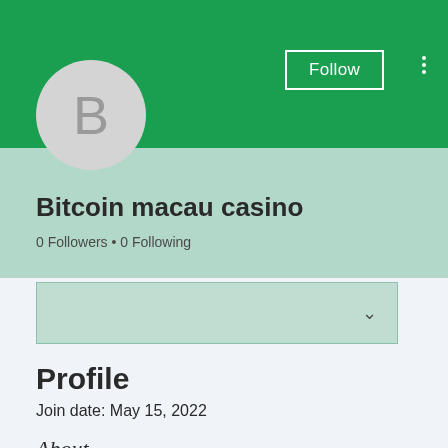[Figure (screenshot): User profile header with green background, avatar circle with letter B, Follow button, and three-dot menu]
Bitcoin macau casino
0 Followers • 0 Following
[Figure (other): Dropdown selector box with chevron]
Profile
Join date: May 15, 2022
About
Bitcoin macau casino